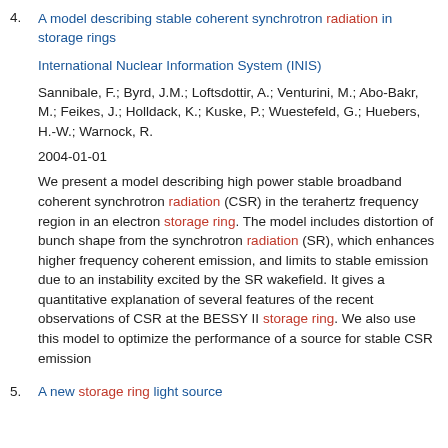4. A model describing stable coherent synchrotron radiation in storage rings

International Nuclear Information System (INIS)

Sannibale, F.; Byrd, J.M.; Loftsdottir, A.; Venturini, M.; Abo-Bakr, M.; Feikes, J.; Holldack, K.; Kuske, P.; Wuestefeld, G.; Huebers, H.-W.; Warnock, R.

2004-01-01

We present a model describing high power stable broadband coherent synchrotron radiation (CSR) in the terahertz frequency region in an electron storage ring. The model includes distortion of bunch shape from the synchrotron radiation (SR), which enhances higher frequency coherent emission, and limits to stable emission due to an instability excited by the SR wakefield. It gives a quantitative explanation of several features of the recent observations of CSR at the BESSY II storage ring. We also use this model to optimize the performance of a source for stable CSR emission
5. A new storage ring light source